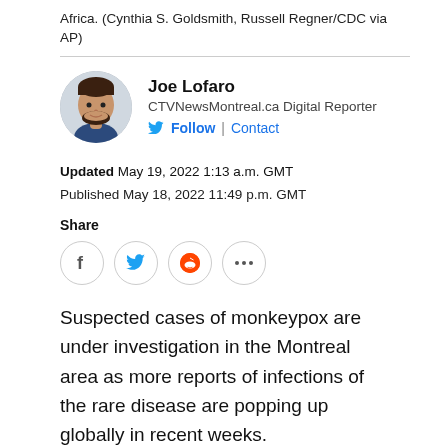Africa. (Cynthia S. Goldsmith, Russell Regner/CDC via AP)
Joe Lofaro
CTVNewsMontreal.ca Digital Reporter
Follow | Contact
Updated May 19, 2022 1:13 a.m. GMT
Published May 18, 2022 11:49 p.m. GMT
Share
[Figure (other): Social share buttons: Facebook, Twitter, Reddit, more (...)]
Suspected cases of monkeypox are under investigation in the Montreal area as more reports of infections of the rare disease are popping up globally in recent weeks.
At least seven suspected cases have been